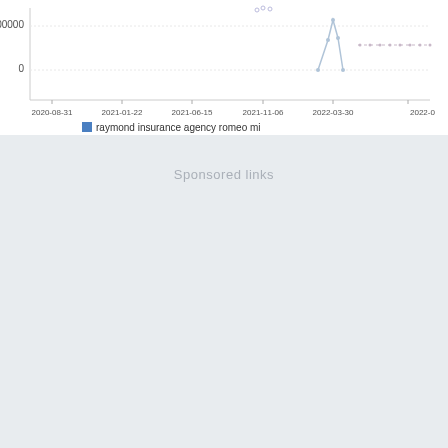[Figure (continuous-plot): Partial line chart showing time series data for 'raymond insurance agency romeo mi' from 2020-08-31 to 2022-0x. Y-axis shows values 0 and 1000000. The line has activity around 2022-03-30 area. A blue legend square with label 'raymond insurance agency romeo mi' is shown below the x-axis.]
Sponsored links